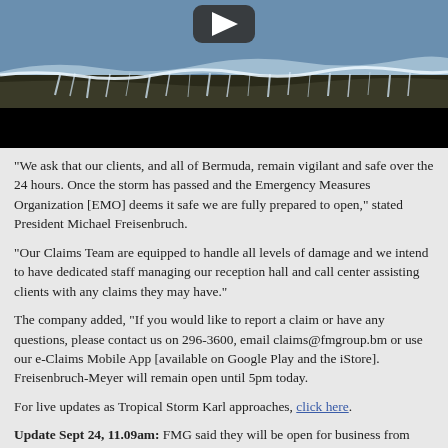[Figure (photo): Ocean waves crashing over dark rocky coastline, storm conditions, with a video player overlay showing a play button at the top center. Black bar at the bottom of the video frame.]
“We ask that our clients, and all of Bermuda, remain vigilant and safe over the 24 hours. Once the storm has passed and the Emergency Measures Organization [EMO] deems it safe we are fully prepared to open,” stated President Michael Freisenbruch.
“Our Claims Team are equipped to handle all levels of damage and we intend to have dedicated staff managing our reception hall and call center assisting clients with any claims they may have.”
The company added, “If you would like to report a claim or have any questions, please contact us on 296-3600, email claims@fmgroup.bm or use our e-Claims Mobile App [available on Google Play and the iStore]. Freisenbruch-Meyer will remain open until 5pm today.
For live updates as Tropical Storm Karl approaches, click here.
Update Sept 24, 11.09am: FMG said they will be open for business from 12pm to 3pm today to assist clients with any claims they may have as a result of Tropical Storm Karl.
The company said, “As Karl begins to move further away from the Island, we are